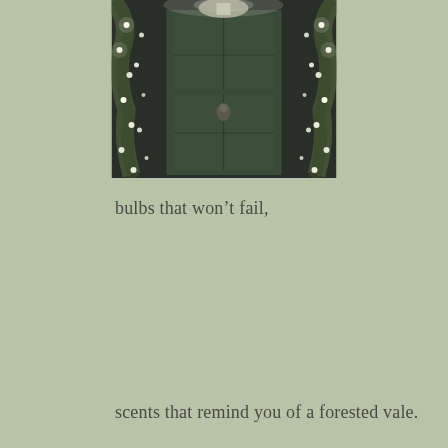[Figure (photo): A green front door decorated with Christmas lights and garland/wreath decorations on both sides, photographed at night with warm glowing lights]
bulbs that won’t fail,
scents that remind you of a forested vale.